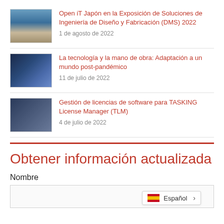Open iT Japón en la Exposición de Soluciones de Ingeniería de Diseño y Fabricación (DMS) 2022
1 de agosto de 2022
La tecnología y la mano de obra: Adaptación a un mundo post-pandémico
11 de julio de 2022
Gestión de licencias de software para TASKING License Manager (TLM)
4 de julio de 2022
Obtener información actualizada
Nombre